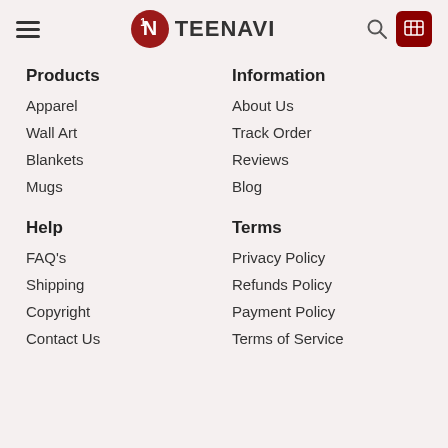TEENAVI
Products
Apparel
Wall Art
Blankets
Mugs
Information
About Us
Track Order
Reviews
Blog
Help
FAQ's
Shipping
Copyright
Contact Us
Terms
Privacy Policy
Refunds Policy
Payment Policy
Terms of Service